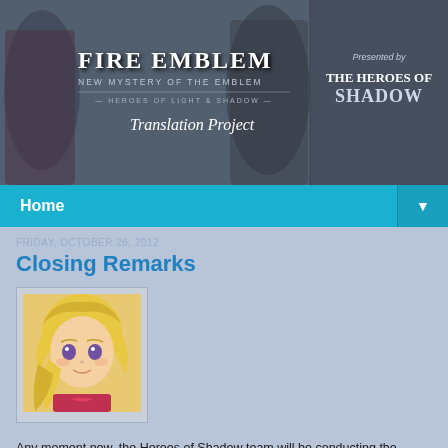[Figure (illustration): Fire Emblem New Mystery of the Emblem Heroes of Light and Shadow Translation Project banner with anime characters and logo]
Home ▼
FRIDAY, OCTOBER 26, 2012
Closing Remarks
[Figure (illustration): Anime character portrait - blonde girl with purple eyes from Fire Emblem]
Any moment now, the Heroes of Shadow team will be conducting the closed beta test of the translation patch (a...